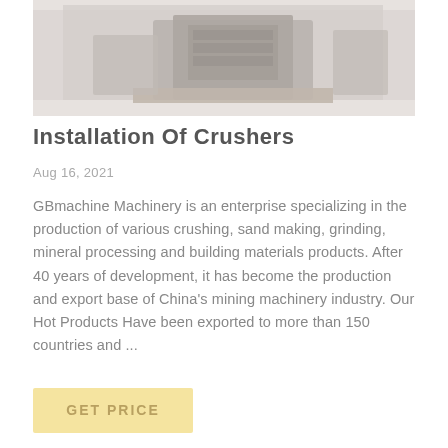[Figure (photo): Industrial machinery/crusher equipment in a warehouse or factory setting, showing heavy machinery on pallets with a large building in the background]
Installation Of Crushers
Aug 16, 2021
GBmachine Machinery is an enterprise specializing in the production of various crushing, sand making, grinding, mineral processing and building materials products. After 40 years of development, it has become the production and export base of China's mining machinery industry. Our Hot Products Have been exported to more than 150 countries and ...
GET PRICE